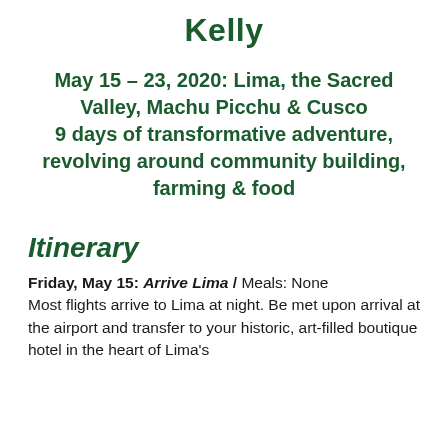Kelly
May 15 – 23, 2020: Lima, the Sacred Valley, Machu Picchu & Cusco
9 days of transformative adventure, revolving around community building, farming & food
Itinerary
Friday, May 15: Arrive Lima / Meals: None
Most flights arrive to Lima at night. Be met upon arrival at the airport and transfer to your historic, art-filled boutique hotel in the heart of Lima's